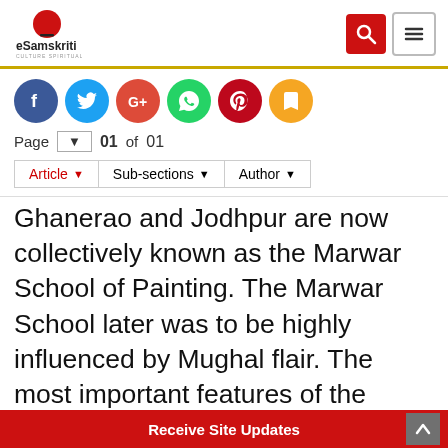eSamskriti — CULTURE SPIRITUALITY TRAVEL
[Figure (infographic): Social sharing icons row: Facebook, Twitter, Google+, WhatsApp, Pinterest, Bookmark]
Page 01 of 01
Article ▾  Sub-sections ▾  Author ▾
Ghanerao and Jodhpur are now collectively known as the Marwar School of Painting. The Marwar School later was to be highly influenced by Mughal flair. The most important features of the Marwar School were the use of thick lines, muscular figures with whiskers huge turbans and strong facial
Receive Site Updates